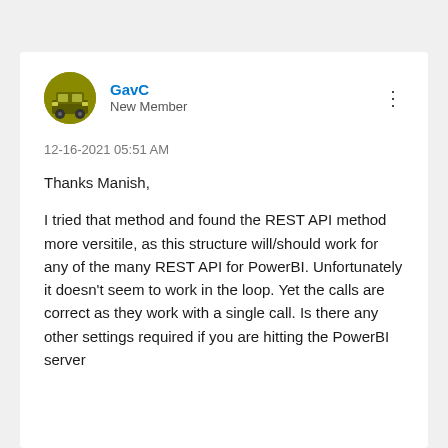GavC
New Member
12-16-2021 05:51 AM
Thanks Manish,

I tried that method and found the REST API method more versitile, as this structure will/should work for any of the many REST API for PowerBI. Unfortunately it doesn't seem to work in the loop. Yet the calls are correct as they work with a single call. Is there any other settings required if you are hitting the PowerBI server